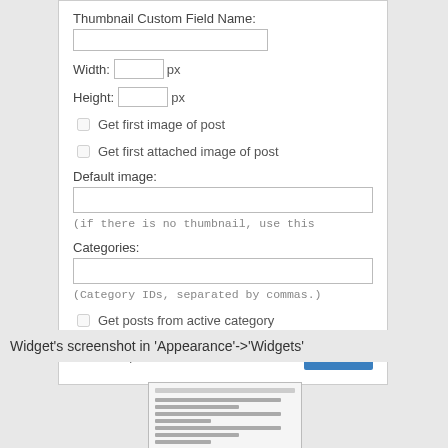[Figure (screenshot): Widget settings form showing: Thumbnail Custom Field Name text input, Width and Height px inputs, checkboxes for Get first image of post and Get first attached image of post, Default image text input with hint, Categories text input with hint, checkbox for Get posts from active category, and Remove | Close | Save buttons.]
Widget's screenshot in 'Appearance'->'Widgets'
[Figure (screenshot): Small thumbnail image of the widget settings form]